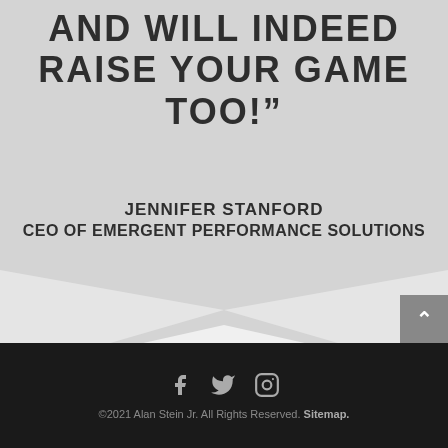AND WILL INDEED RAISE YOUR GAME TOO!"
JENNIFER STANFORD
CEO OF EMERGENT PERFORMANCE SOLUTIONS
©2021 Alan Stein Jr. All Rights Reserved. Sitemap.